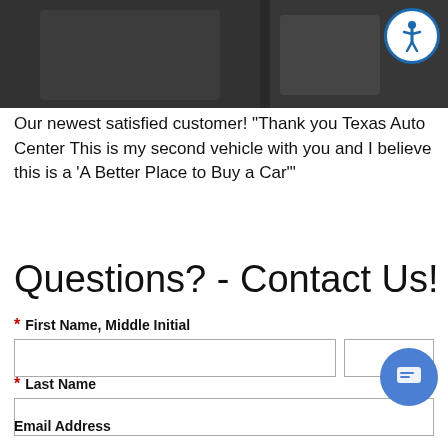[Figure (photo): Dark photo strip showing customer(s) at top of page with accessibility icon overlay in top-right corner]
Our newest satisfied customer! "Thank you Texas Auto Center This is my second vehicle with you and I believe this is a 'A Better Place to Buy a Car'"
Questions? - Contact Us!
* First Name, Middle Initial
* Last Name
Email Address
* Day Phone Number